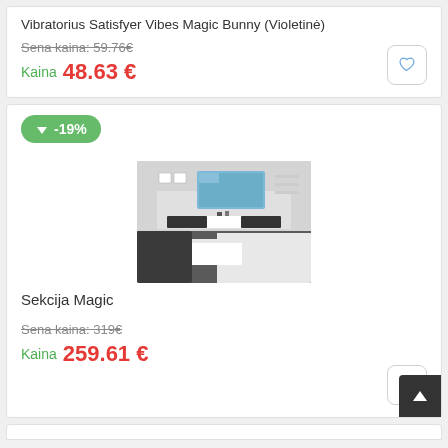Vibratorius Satisfyer Vibes Magic Bunny (Violetinė)
Sena kaina: 59.76€
Kaina  48.63 €
-19%
[Figure (photo): Living room furniture set with TV unit, coffee table, shelves and wall-mounted TV]
Sekcija Magic
Sena kaina: 319€
Kaina  259.61 €